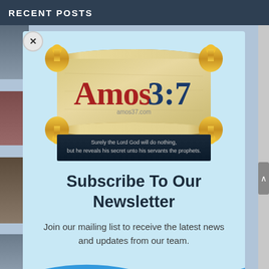RECENT POSTS
[Figure (logo): Amos 3:7 website logo — a scroll graphic with gold finials, text reading 'Amos3:7' in red and dark blue, website URL 'amos37.com' below, and a dark banner with white text reading 'Surely the Lord God will do nothing, but he reveals his secret unto his servants the prophets.']
Subscribe To Our Newsletter
Join our mailing list to receive the latest news and updates from our team.